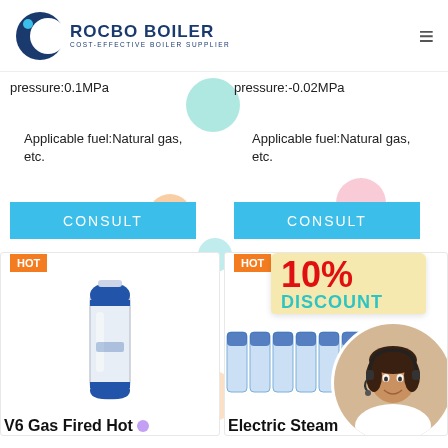[Figure (logo): Rocbo Boiler logo with crescent moon icon, text ROCBO BOILER and COST-EFFECTIVE BOILER SUPPLIER]
pressure:0.1MPa
pressure:-0.02MPa
Applicable fuel:Natural gas, etc.
Applicable fuel:Natural gas, etc.
CONSULT
CONSULT
HOT
HOT
[Figure (photo): White and blue cylindrical hot water boiler product photo]
[Figure (photo): 10% DISCOUNT promotional banner with boiler images and customer service agent with headset]
V6 Gas Fired Hot
Electric Steam